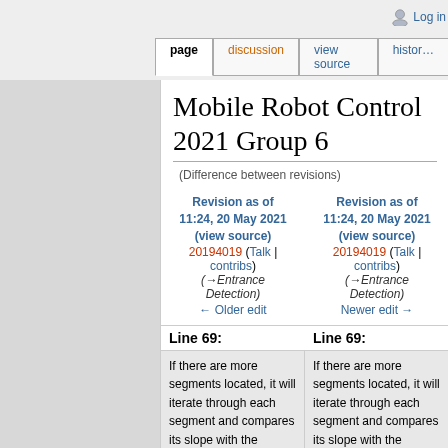Log in
page | discussion | view source | history
Mobile Robot Control 2021 Group 6
(Difference between revisions)
Revision as of 11:24, 20 May 2021 (view source)
20194019 (Talk | contribs)
(→Entrance Detection)
← Older edit
Revision as of 11:24, 20 May 2021 (view source)
20194019 (Talk | contribs)
(→Entrance Detection)
Newer edit →
Line 69:
Line 69:
If there are more segments located, it will iterate through each segment and compares its slope with the following 2 segments. If there are 2 segments
If there are more segments located, it will iterate through each segment and compares its slope with the following 2 segments. If there are 2 segments